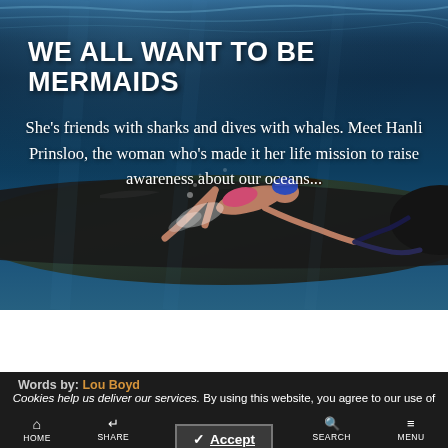[Figure (photo): Underwater photo of a woman in a pink bikini and fins swimming alongside a large whale in deep blue ocean water]
WE ALL WANT TO BE MERMAIDS
She's friends with sharks and dives with whales. Meet Hanli Prinsloo, the woman who's made it her life mission to raise awareness about our oceans...
Words by: Lou Boyd
Cookies help us deliver our services. By using this website, you agree to our use of cookies. Learn More
HOME   SHARE   SEARCH   MENU